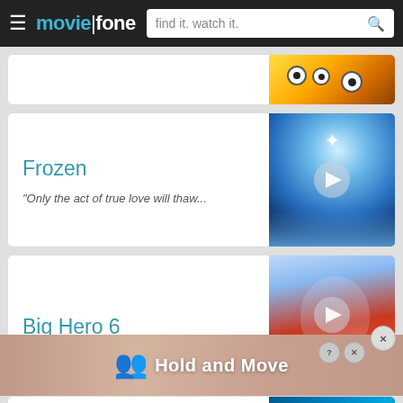moviefone — find it. watch it.
Frozen
"Only the act of true love will thaw...
[Figure (screenshot): Frozen movie thumbnail with blue icy background and play button]
Big Hero 6
[Figure (screenshot): Big Hero 6 movie thumbnail with Baymax character and Big Hero logo]
[Figure (screenshot): Advertisement overlay with 'Hold and Move' text and human figure icons]
Finding Nemo
"There are 3.7 trillion fish in the oc...
[Figure (screenshot): Finding Nemo movie thumbnail with underwater scene]